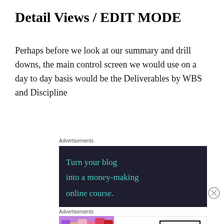Detail Views / EDIT MODE
Perhaps before we look at our summary and drill downs, the main control screen we would use on a day to day basis would be the Deliverables by WBS and Discipline
Advertisements
[Figure (illustration): Dark navy background advertisement with teal/mint colored text reading 'Turn your blog into a money-making online course.']
Advertisements
[Figure (illustration): MAC cosmetics advertisement showing colorful lipsticks on the left, MAC logo in italic script in center, and a SHOP NOW box on the right.]